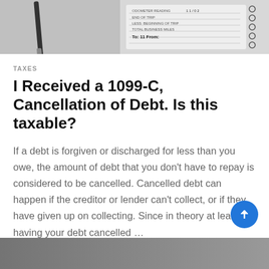[Figure (photo): Photo of a mileage log or notebook with handwritten entries and a pen, partially visible at the top of the page]
TAXES
I Received a 1099-C, Cancellation of Debt. Is this taxable?
If a debt is forgiven or discharged for less than you owe, the amount of debt that you don't have to repay is considered to be cancelled. Cancelled debt can happen if the creditor or lender can't collect, or if they have given up on collecting. Since in theory at least, having your debt cancelled …
CONTINUE READING →
[Figure (photo): Partial photo visible at the very bottom of the page, cropped]